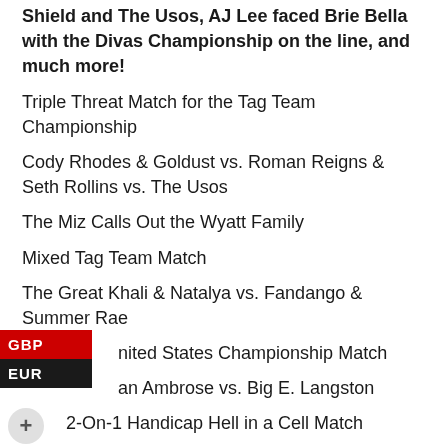Shield and The Usos, AJ Lee faced Brie Bella with the Divas Championship on the line, and much more!
Triple Threat Match for the Tag Team Championship
Cody Rhodes & Goldust vs. Roman Reigns & Seth Rollins vs. The Usos
The Miz Calls Out the Wyatt Family
Mixed Tag Team Match
The Great Khali & Natalya vs. Fandango & Summer Rae
United States Championship Match
Dean Ambrose vs. Big E. Langston
2-On-1 Handicap Hell in a Cell Match